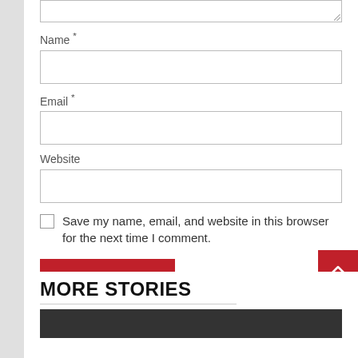Name *
Email *
Website
Save my name, email, and website in this browser for the next time I comment.
Post Comment
MORE STORIES